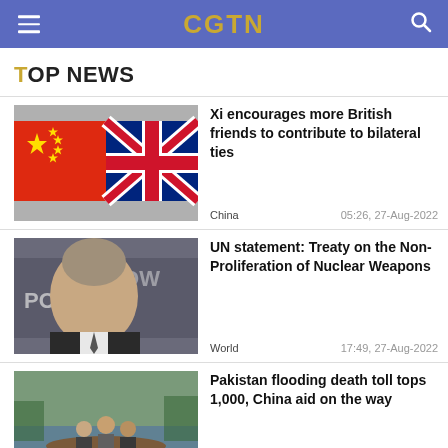CGTN
TOP NEWS
[Figure (photo): Chinese flag and UK flag side by side on metallic background]
Xi encourages more British friends to contribute to bilateral ties
China   05:26, 27-Aug-2022
[Figure (photo): Elderly man in suit in front of COP26 TOWI POLA 2011 signage]
UN statement: Treaty on the Non-Proliferation of Nuclear Weapons
World   17:49, 27-Aug-2022
[Figure (photo): People on a makeshift raft in floodwaters]
Pakistan flooding death toll tops 1,000, China aid on the way